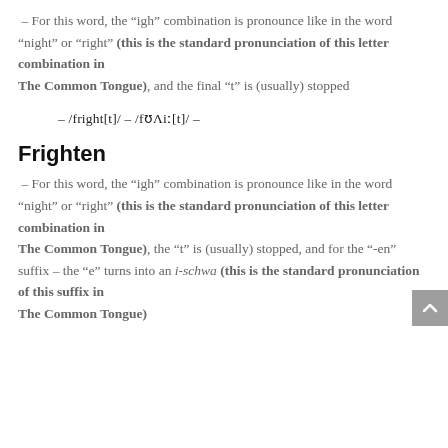– For this word, the “igh” combination is pronounce like in the word “night” or “right” (this is the standard pronunciation of this letter combination in The Common Tongue), and the final “t” is (usually) stopped
– /fright[t]/ – /fʊΛi:ː[t]/ –
Frighten
– For this word, the “igh” combination is pronounce like in the word “night” or “right” (this is the standard pronunciation of this letter combination in The Common Tongue), the “t” is (usually) stopped, and for the “-en” suffix – the “e” turns into an i-schwa (this is the standard pronunciation of this suffix in The Common Tongue)